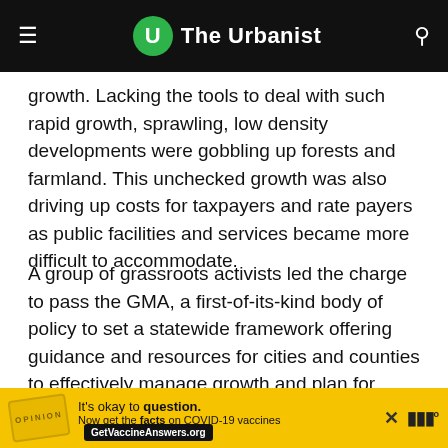The Urbanist
growth. Lacking the tools to deal with such rapid growth, sprawling, low density developments were gobbling up forests and farmland. This unchecked growth was also driving up costs for taxpayers and rate payers as public facilities and services became more difficult to accommodate.
A group of grassroots activists led the charge to pass the GMA, a first-of-its-kind body of policy to set a statewide framework offering guidance and resources for cities and counties to effectively manage growth and plan for vibrant communities. The GMA sets a vision for Washington with compact, well designed, and well-furnished cities and towns that are encompassed by we...
[Figure (other): Advertisement banner: It's okay to question. Now get the facts on COVID-19 vaccines. GetVaccineAnswers.org]